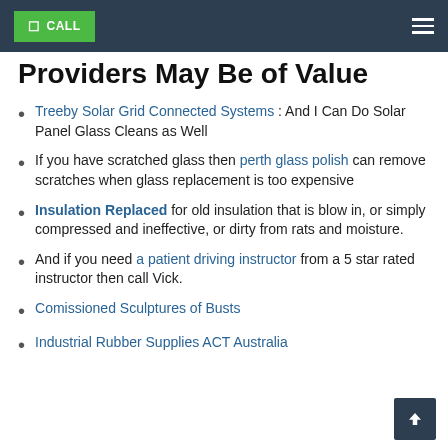CALL [navigation bar with hamburger menu]
Providers May Be of Value
Treeby Solar Grid Connected Systems : And I Can Do Solar Panel Glass Cleans as Well
If you have scratched glass then perth glass polish can remove scratches when glass replacement is too expensive
Insulation Replaced for old insulation that is blow in, or simply compressed and ineffective, or dirty from rats and moisture.
And if you need a patient driving instructor from a 5 star rated instructor then call Vick.
Comissioned Sculptures of Busts
Industrial Rubber Supplies ACT Australia